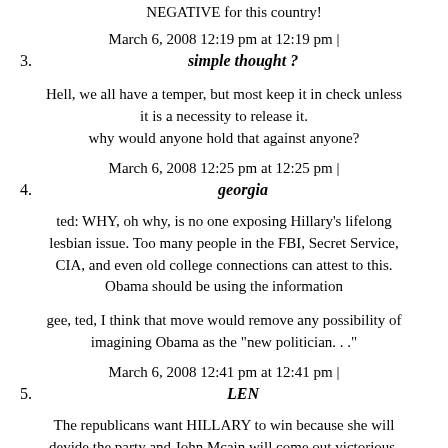NEGATIVE for this country!
March 6, 2008 12:19 pm at 12:19 pm | 3. simple thought ?
Hell, we all have a temper, but most keep it in check unless it is a necessity to release it. why would anyone hold that against anyone?
March 6, 2008 12:25 pm at 12:25 pm | 4. georgia
ted: WHY, oh why, is no one exposing Hillary's lifelong lesbian issue. Too many people in the FBI, Secret Service, CIA, and even old college connections can attest to this. Obama should be using the information
gee, ted, I think that move would remove any possibility of imagining Obama as the "new politician. . ."
March 6, 2008 12:41 pm at 12:41 pm | 5. LEN
The republicans want HILLARY to win because she will devide the party and John Mcain will come out victorious. She can't get enough votes.